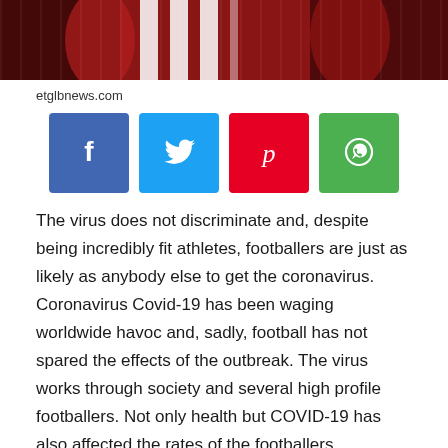[Figure (photo): Photo of footballers in red jerseys at top of page]
etglbnews.com
[Figure (infographic): Social media share buttons: Facebook (blue), Twitter (cyan), Pinterest (red), WhatsApp (green)]
The virus does not discriminate and, despite being incredibly fit athletes, footballers are just as likely as anybody else to get the coronavirus. Coronavirus Covid-19 has been waging worldwide havoc and, sadly, football has not spared the effects of the outbreak. The virus works through society and several high profile footballers. Not only health but COVID-19 has also affected the rates of the footballers.
The Portuguese giants unloaded the midfielder in a contract in January, but ask rates have since dropped due to the Covid-19 crisis.